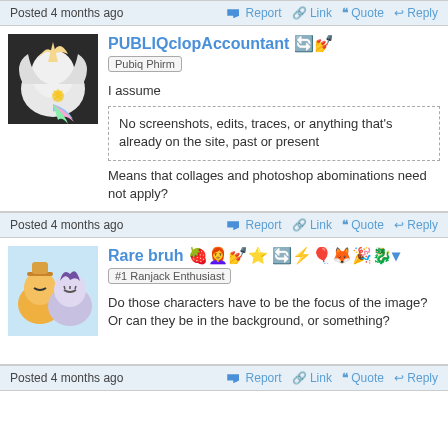Posted 4 months ago   Report   Link   Quote   Reply
[Figure (photo): Avatar image of a white winged unicorn (alicorn) with rainbow tail, likely Celestia from My Little Pony]
PUBLIQclopAccountant
Pubiq Phirm
I assume
No screenshots, edits, traces, or anything that's already on the site, past or present
Means that collages and photoshop abominations need not apply?
Posted 4 months ago   Report   Link   Quote   Reply
[Figure (photo): Avatar image of two animated ponies (Applejack and Rarity) from My Little Pony]
Rare bruh
#1 Ranjack Enthusiast
Do those characters have to be the focus of the image? Or can they be in the background, or something?
Posted 4 months ago   Report   Link   Quote   Reply